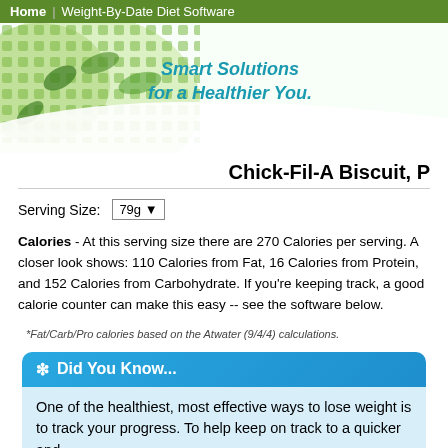Home | Weight-By-Date Diet Software
[Figure (illustration): Website banner with green dot/leaf pattern background and 'Smart Solutions for a Healthier You.' text in teal italic]
Chick-Fil-A Biscuit, ...
Serving Size: 79g
Calories - At this serving size there are 270 Calories per serving. A closer look shows: 110 Calories from Fat, 16 Calories from Protein, and 152 Calories from Carbohydrate. If you're keeping track, a good calorie counter can make this easy -- see the software below.
*Fat/Carb/Pro calories based on the Atwater (9/4/4) calculations.
❄ Did You Know...
One of the healthiest, most effective ways to lose weight is to track your progress. To help keep on track to a quicker and...